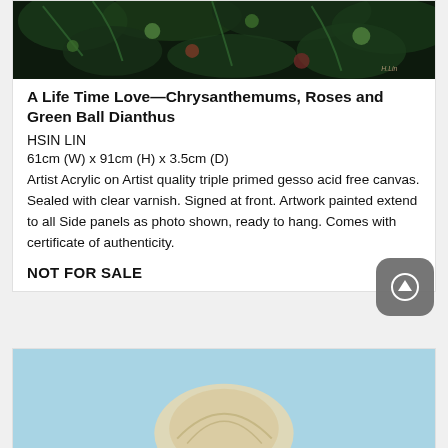[Figure (photo): Dark floral painting showing chrysanthemums, roses and green ball dianthus against dark green foliage background. Artist signature visible at bottom right.]
A Life Time Love—Chrysanthemums, Roses and Green Ball Dianthus
HSIN LIN
61cm (W) x 91cm (H) x 3.5cm (D)
Artist Acrylic on Artist quality triple primed gesso acid free canvas. Sealed with clear varnish. Signed at front. Artwork painted extend to all Side panels as photo shown, ready to hang. Comes with certificate of authenticity.
NOT FOR SALE
[Figure (photo): Light blue background painting showing what appears to be a seashell or organic form, partially visible at bottom of page.]